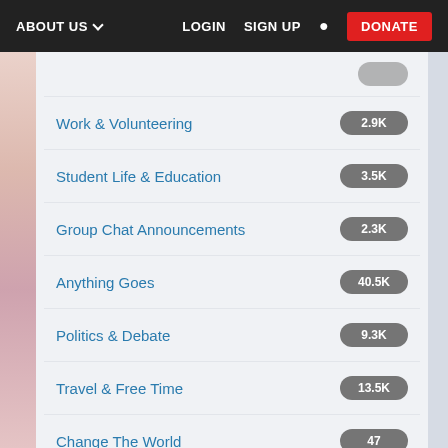ABOUT US  LOGIN  SIGN UP  DONATE
Work & Volunteering 2.9K
Student Life & Education 3.5K
Group Chat Announcements 2.3K
Anything Goes 40.5K
Politics & Debate 9.3K
Travel & Free Time 13.5K
Change The World 47
Represent Young People 684
Fix The Mix 79
Articles